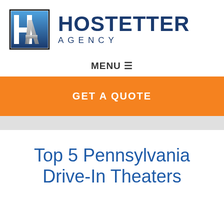[Figure (logo): Hostetter Agency logo: square logo mark with stylized H and A letters in blue and gray gradient, next to the text HOSTETTER AGENCY in dark navy blue bold font]
MENU ≡
GET A QUOTE
Top 5 Pennsylvania Drive-In Theaters